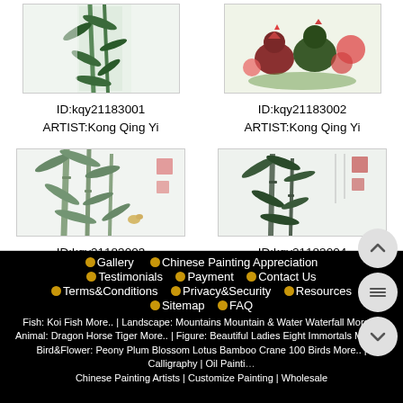[Figure (photo): Chinese ink painting thumbnail - bamboo, top left, ID kqy21183001]
ID:kqy21183001
ARTIST:Kong Qing Yi
[Figure (photo): Chinese ink painting thumbnail - roosters and flowers, top right, ID kqy21183002]
ID:kqy21183002
ARTIST:Kong Qing Yi
[Figure (photo): Chinese ink painting thumbnail - bamboo, bottom left, ID kqy21183003]
ID:kqy21183003
ARTIST:Kong Qing Yi
[Figure (photo): Chinese ink painting thumbnail - bamboo, bottom right, ID kqy21183004]
ID:kqy21183004
ARTIST:Kong Qing Yi
Gallery | Chinese Painting Appreciation | Testimonials | Payment | Contact Us | Terms&Conditions | Privacy&Security | Resources | Sitemap | FAQ
Fish: Koi Fish More.. | Landscape: Mountains Mountain & Water Waterfall More.. | Animal: Dragon Horse Tiger More.. | Figure: Beautiful Ladies Eight Immortals More.. | Bird&Flower: Peony Plum Blossom Lotus Bamboo Crane 100 Birds More.. | Calligraphy | Oil Painting | Chinese Painting Artists | Customize Painting | Wholesale